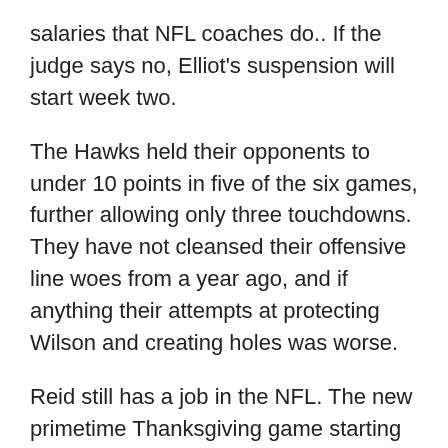salaries that NFL coaches do.. If the judge says no, Elliot's suspension will start week two.
The Hawks held their opponents to under 10 points in five of the six games, further allowing only three touchdowns. They have not cleansed their offensive line woes from a year ago, and if anything their attempts at protecting Wilson and creating holes was worse.
Reid still has a job in the NFL. The new primetime Thanksgiving game starting in 2012, the upgraded playoff package and the three Super Bowls are all major enhancements to our new agreement. That's where Colin Kaepernick comes in. Tony Romo is full of them.